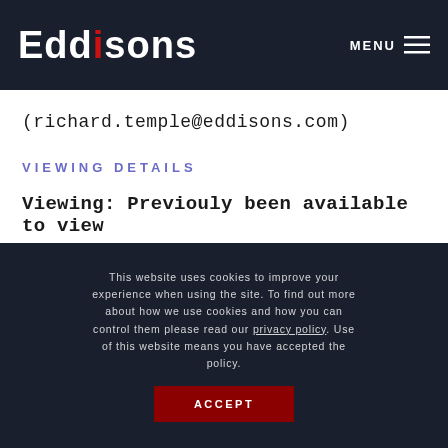Eddisons | MENU
(richard.temple@eddisons.com)
VIEWING DETAILS
Viewing: Previouly been available to view
At the close of the timed Online Auction Sale
This website uses cookies to improve your experience when using the site. To find out more about how we use cookies and how you can control them please read our privacy policy. Use of this website means you have accepted the policy.
ACCEPT